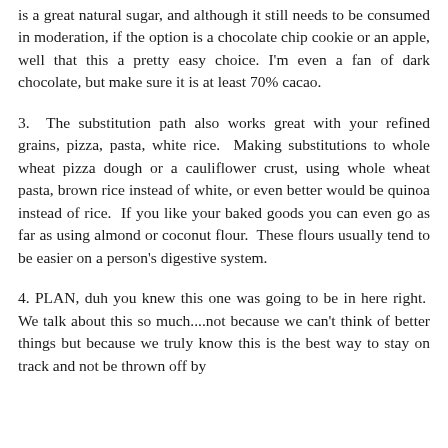is a great natural sugar, and although it still needs to be consumed in moderation, if the option is a chocolate chip cookie or an apple, well that this a pretty easy choice. I'm even a fan of dark chocolate, but make sure it is at least 70% cacao.
3. The substitution path also works great with your refined grains, pizza, pasta, white rice. Making substitutions to whole wheat pizza dough or a cauliflower crust, using whole wheat pasta, brown rice instead of white, or even better would be quinoa instead of rice. If you like your baked goods you can even go as far as using almond or coconut flour. These flours usually tend to be easier on a person's digestive system.
4. PLAN, duh you knew this one was going to be in here right. We talk about this so much....not because we can't think of better things but because we truly know this is the best way to stay on track and not be thrown off by